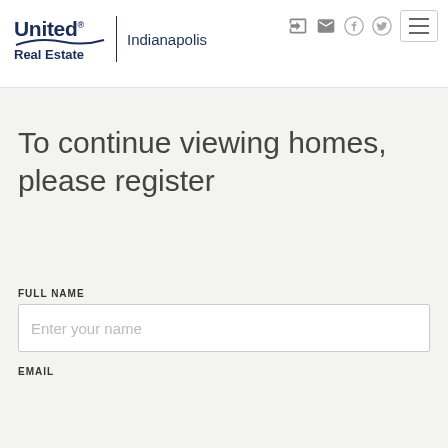[Figure (logo): United Real Estate Indianapolis logo with swoosh graphic and city name]
To continue viewing homes, please register
FULL NAME
Enter your name
EMAIL